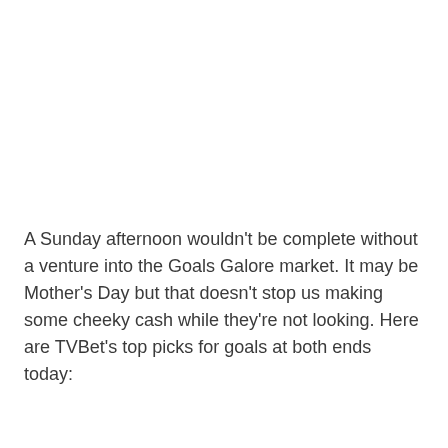A Sunday afternoon wouldn't be complete without a venture into the Goals Galore market. It may be Mother's Day but that doesn't stop us making some cheeky cash while they're not looking. Here are TVBet's top picks for goals at both ends today: